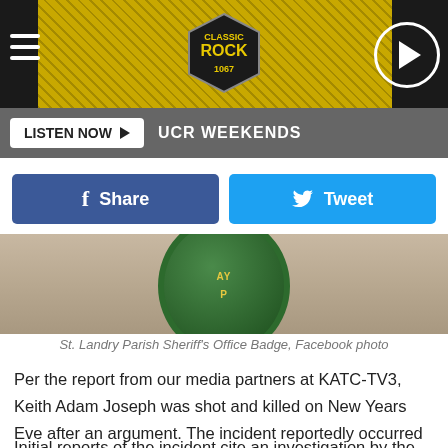[Figure (screenshot): Classic Rock 1067 radio station website header with yellow and black splatter design, hamburger menu icon, station logo badge, and circular play button]
LISTEN NOW ▶  UCR WEEKENDS
[Figure (photo): St. Landry Parish Sheriff's Office Badge close-up photo showing green and gold embroidered badge patch]
St. Landry Parish Sheriff's Office Badge, Facebook photo
Per the report from our media partners at KATC-TV3, Keith Adam Joseph was shot and killed on New Years Eve after an argument. The incident reportedly occurred on East Saint Mitchell Street in Washington. The 38-year-old Washington man is said to have died at the scene.
Initial reports of the incident cite an investigation by the St.